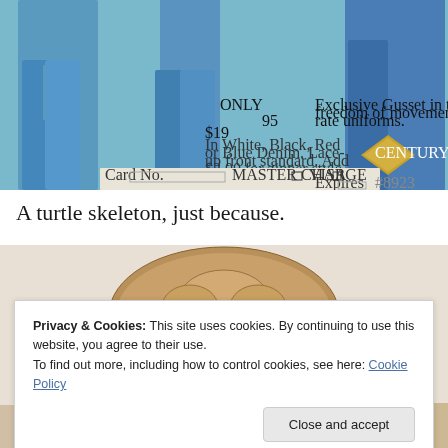[Figure (photo): Vintage clothing advertisement showing people wearing bell-bottom jeans, price tag '$19.95', Century brand logo, Master Charge and VISA payment fields]
A turtle skeleton, just because.
[Figure (photo): Top view of a turtle skeleton showing the shell structure]
Privacy & Cookies: This site uses cookies. By continuing to use this website, you agree to their use.
To find out more, including how to control cookies, see here: Cookie Policy
Close and accept